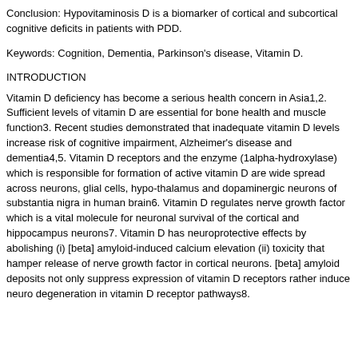Conclusion: Hypovitaminosis D is a biomarker of cortical and subcortical cognitive deficits in patients with PDD.
Keywords: Cognition, Dementia, Parkinson's disease, Vitamin D.
INTRODUCTION
Vitamin D deficiency has become a serious health concern in Asia1,2. Sufficient levels of vitamin D are essential for bone health and muscle function3. Recent studies demonstrated that inadequate vitamin D levels increase risk of cognitive impairment, Alzheimer's disease and dementia4,5. Vitamin D receptors and the enzyme (1alpha-hydroxylase) which is responsible for formation of active vitamin D are wide spread across neurons, glial cells, hypo-thalamus and dopaminergic neurons of substantia nigra in human brain6. Vitamin D regulates nerve growth factor which is a vital molecule for neuronal survival of the cortical and hippocampus neurons7. Vitamin D has neuroprotective effects by abolishing (i) [beta] amyloid-induced calcium elevation (ii) toxicity that hamper release of nerve growth factor in cortical neurons. [beta] amyloid deposits not only suppress expression of vitamin D receptors rather induce neuro degeneration in vitamin D receptor pathways8.